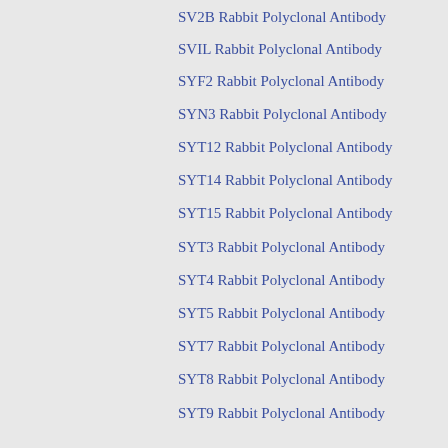SV2B Rabbit Polyclonal Antibody
SVIL Rabbit Polyclonal Antibody
SYF2 Rabbit Polyclonal Antibody
SYN3 Rabbit Polyclonal Antibody
SYT12 Rabbit Polyclonal Antibody
SYT14 Rabbit Polyclonal Antibody
SYT15 Rabbit Polyclonal Antibody
SYT3 Rabbit Polyclonal Antibody
SYT4 Rabbit Polyclonal Antibody
SYT5 Rabbit Polyclonal Antibody
SYT7 Rabbit Polyclonal Antibody
SYT8 Rabbit Polyclonal Antibody
SYT9 Rabbit Polyclonal Antibody